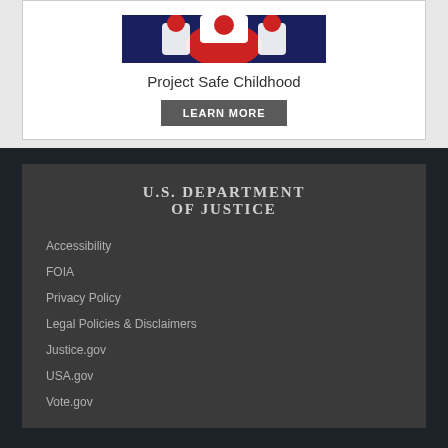[Figure (logo): Project Safe Childhood logo — red, white, and blue graphic on dark navy background]
Project Safe Childhood
LEARN MORE
U.S. DEPARTMENT OF JUSTICE
Accessibility
FOIA
Privacy Policy
Legal Policies & Disclaimers
Justice.gov
USA.gov
Vote.gov